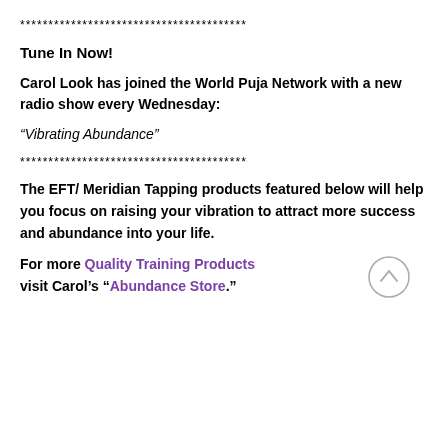****************************************
Tune In Now!
Carol Look has joined the World Puja Network with a new radio show every Wednesday:
“Vibrating Abundance”
****************************************
The EFT/ Meridian Tapping products featured below will help you focus on raising your vibration to attract more success and abundance into your life.
For more Quality Training Products visit Carol’s “Abundance Store.”